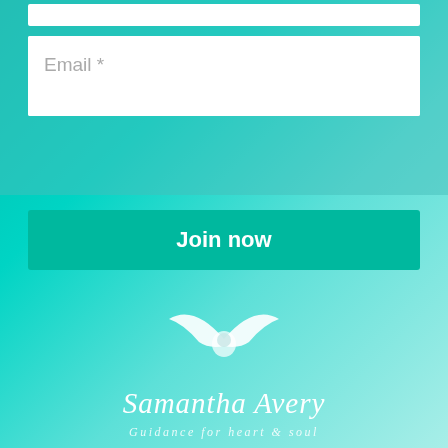[Figure (screenshot): Email input field with placeholder text 'Email *' on a teal gradient background]
[Figure (other): Join now button with white bold text on a teal background]
[Figure (logo): Samantha Avery logo with white angel/dove wings graphic above stylized italic text 'Samantha Avery' and tagline 'Guidance for heart & soul' on teal gradient background]